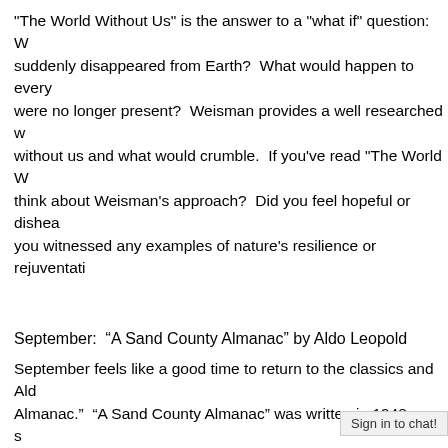"The World Without Us" is the answer to a "what if" question: W... suddenly disappeared from Earth? What would happen to every... were no longer present? Weisman provides a well researched v... without us and what would crumble. If you've read "The World W... think about Weisman's approach? Did you feel hopeful or dishea... you witnessed any examples of nature's resilience or rejuventati...
September:  “A Sand County Almanac” by Aldo Leopold
September feels like a good time to return to the classics and Ald... Almanac."  "A Sand County Almanac" was written in 1948 as a s... on Leopold's observations and insights from a lifetime of living a... you're short on time this month, I recommend jumping ahead to t... Ethic" and "Wilderness."  Has Leopold influenced your ideas aro... ethic?  Does wilderness have a value even if you haven't seen it... your land ethic?  What motivates you to serve in the conservatio...
October:  “Omnivore’s Dilemma” by Michael Pollan
..."Omnivore's Dilemma" Michael Po...